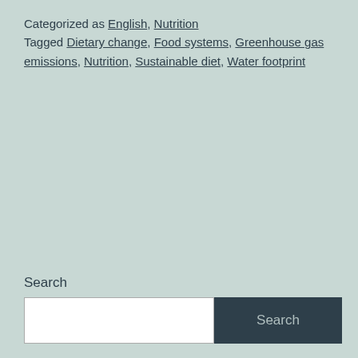Categorized as English, Nutrition
Tagged Dietary change, Food systems, Greenhouse gas emissions, Nutrition, Sustainable diet, Water footprint
Search